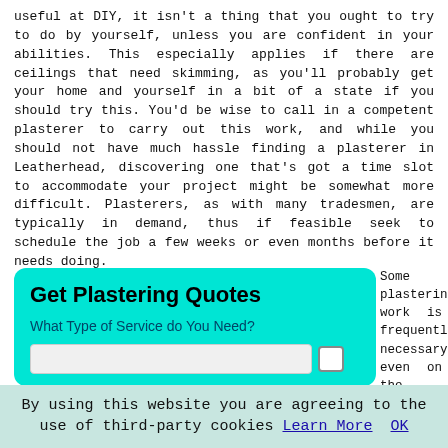useful at DIY, it isn't a thing that you ought to try to do by yourself, unless you are confident in your abilities. This especially applies if there are ceilings that need skimming, as you'll probably get your home and yourself in a bit of a state if you should try this. You'd be wise to call in a competent plasterer to carry out this work, and while you should not have much hassle finding a plasterer in Leatherhead, discovering one that's got a time slot to accommodate your project might be somewhat more difficult. Plasterers, as with many tradesmen, are typically in demand, thus if feasible seek to schedule the job a few weeks or even months before it needs doing.
[Figure (screenshot): Get Plastering Quotes widget with cyan/turquoise background, heading 'Get Plastering Quotes', subtext 'What Type of Service do You Need?' and an input row]
Some plastering work is frequently necessary, even on the smallest of home improvement assignments.
By using this website you are agreeing to the use of third-party cookies Learn More OK